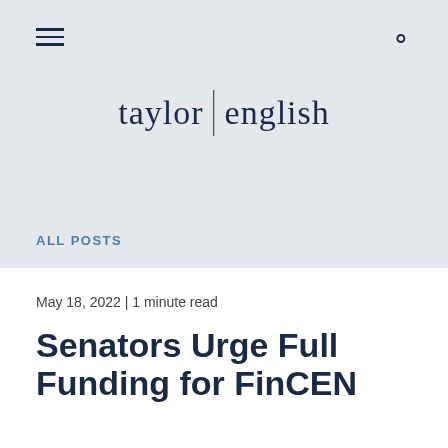taylor english
ALL POSTS
May 18, 2022 | 1 minute read
Senators Urge Full Funding for FinCEN